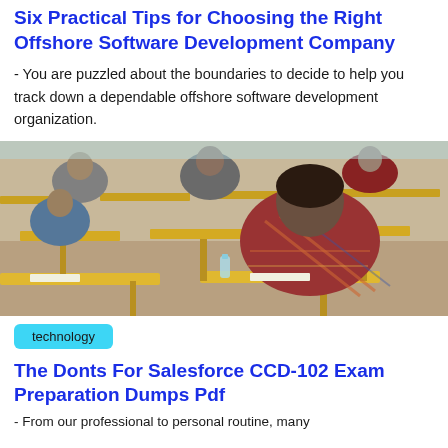Six Practical Tips for Choosing the Right Offshore Software Development Company
- You are puzzled about the boundaries to decide to help you track down a dependable offshore software development organization.
[Figure (photo): Students sitting at desks in an examination hall, viewed from behind, writing exams.]
technology
The Donts For Salesforce CCD-102 Exam Preparation Dumps Pdf
From our professional to personal routine, many